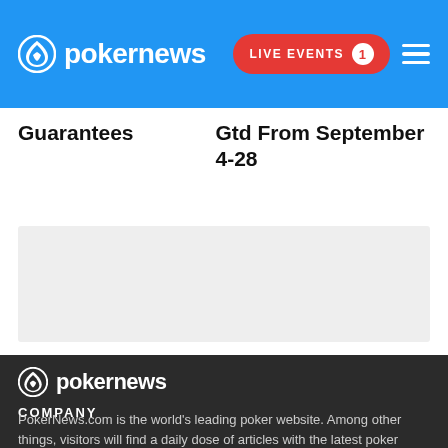pokernews — LIVE EVENTS 1
Guarantees
Gtd From September 4-28
[Figure (other): Advertisement placeholder box, light gray background]
[Figure (logo): PokerNews logo in white on dark background]
COMPANY
PokerNews.com is the world's leading poker website. Among other things, visitors will find a daily dose of articles with the latest poker news, live reporting from tournaments, exclusive videos, podcasts, reviews and bonuses and so much more.